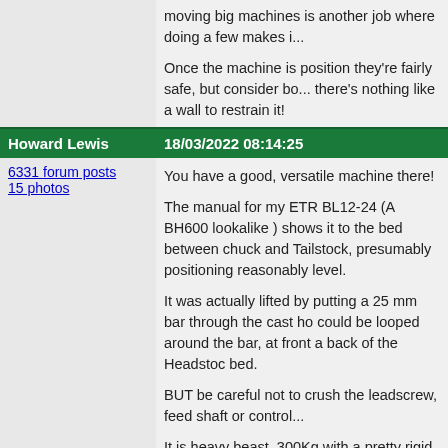moving big machines is another job where doing a few makes it... Once the machine is position they're fairly safe, but consider bo... there's nothing like a wall to restrain it!
Howard Lewis | 18/03/2022 08:14:25
6331 forum posts
15 photos
You have a good, versatile machine there!

The manual for my ETR BL12-24 (A BH600 lookalike ) shows it to the bed between chuck and Tailstock, presumably positioning reasonably level.

It was actually lifted by putting a 25 mm bar through the cast ho could be looped around the bar, at front a back of the Headstoc bed.

BUT be careful not to crush the leadscrew, feed shaft or control

It is heavy beast, 300Kg with a pretty rigid bed!

I would advice shimming or adjusting immediately below the Tai

My BY 12-24 actually sits on 6 x 1`/2 UNF setscrews and nuts, s adjustment.

HTH

Howard
OuBallie | 18/03/2022 08:19:21